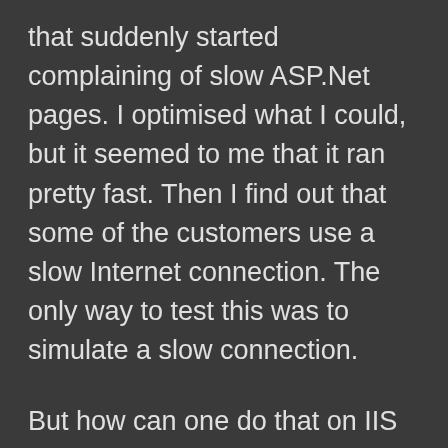that suddenly started complaining of slow ASP.Net pages. I optimised what I could, but it seemed to me that it ran pretty fast. Then I find out that some of the customers use a slow Internet connection. The only way to test this was to simulate a slow connection.
But how can one do that on IIS 5.1, the Windows XP web server? After a while of searching I realised that it was the wrong question. I don't need this for other projects and if I did I certainly wouldn't want to slow the entire web server to check it out. Because yes, changing the metadata of the server can, supposedly, change the maximum speed the